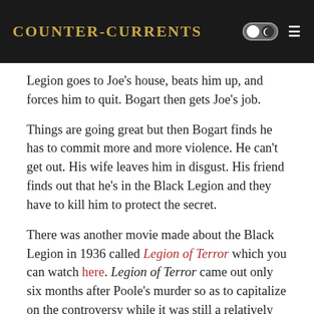Counter-Currents
Legion goes to Joe's house, beats him up, and forces him to quit. Bogart then gets Joe's job.
Things are going great but then Bogart finds he has to commit more and more violence. He can't get out. His wife leaves him in disgust. His friend finds out that he's in the Black Legion and they have to kill him to protect the secret.
There was another movie made about the Black Legion in 1936 called Legion of Terror which you can watch here. Legion of Terror came out only six months after Poole's murder so as to capitalize on the controversy while it was still a relatively hot story. In Legion of Terror, two federal postal inspectors intercept a mail bomb addressed to a senator. They travel to the town it was mailed from and get jobs in a factory whereupon they are invited to join the Hood Legion, which is a fictitious group based on the